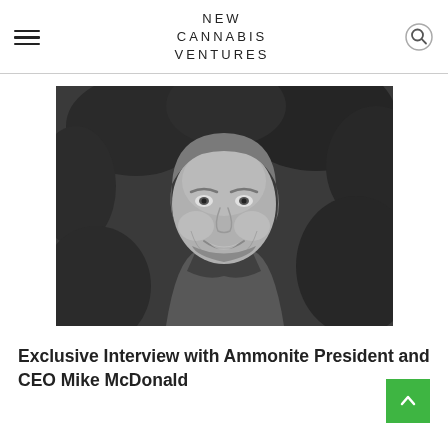NEW CANNABIS VENTURES
[Figure (photo): Black and white portrait photo of a smiling middle-aged man with short hair and a beard, wearing a dark polo shirt, with foliage in the background.]
Exclusive Interview with Ammonite President and CEO Mike McDonald